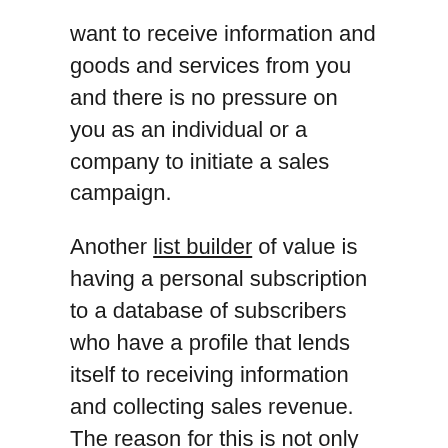want to receive information and goods and services from you and there is no pressure on you as an individual or a company to initiate a sales campaign.
Another list builder of value is having a personal subscription to a database of subscribers who have a profile that lends itself to receiving information and collecting sales revenue. The reason for this is not only does they provide something of value to them but they also encourage a lasting interaction between the parties involved. If people subscribe to your opt in email campaign, their expectations are met straight away.
This list is going to be broad, targeting consumers and businesses that would be interested in a product or service. Utilizing your resources and foregoing with basic essentials is never a good idea. Having this list can make your online monitor technologies business more